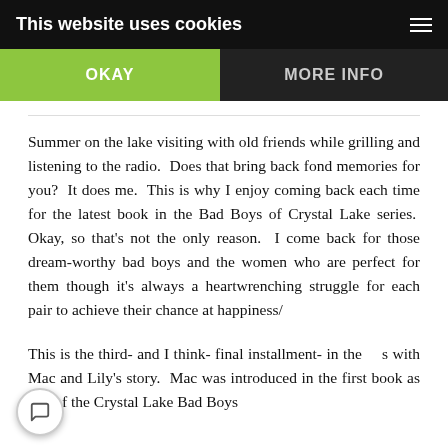This website uses cookies
OKAY
MORE INFO
Summer on the lake visiting with old friends while grilling and listening to the radio.  Does that bring back fond memories for you?  It does me.  This is why I enjoy coming back each time for the latest book in the Bad Boys of Crystal Lake series.  Okay, so that's not the only reason.  I come back for those dream-worthy bad boys and the women who are perfect for them though it's always a heartwrenching struggle for each pair to achieve their chance at happiness/
This is the third- and I think- final installment- in the …s with Mac and Lily's story.  Mac was introduced in the first book as one of the Crystal Lake Bad Boys